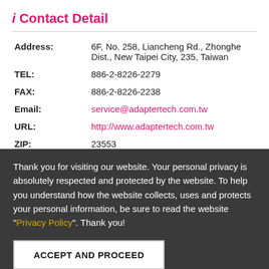Contact Detail
| Address: | 6F, No. 258, Liancheng Rd., Zhonghe Dist., New Taipei City, 235, Taiwan |
| TEL: | 886-2-8226-2279 |
| FAX: | 886-2-8226-2238 |
| Email: | service@adaptertech.com.tw |
| URL: | http://www.adaptertech.com.tw |
| ZIP: | 23553 |
Pooyong Flecto
Thank you for visiting our website. Your personal privacy is absolutely respected and protected by the website. To help you understand how the website collects, uses and protects your personal information, be sure to read the website "Privacy Policy". Thank you!
ACCEPT AND PROCEED